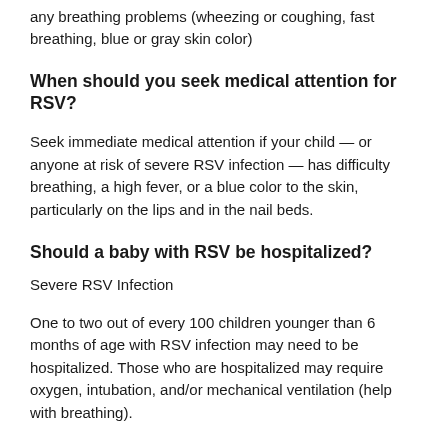any breathing problems (wheezing or coughing, fast breathing, blue or gray skin color)
When should you seek medical attention for RSV?
Seek immediate medical attention if your child — or anyone at risk of severe RSV infection — has difficulty breathing, a high fever, or a blue color to the skin, particularly on the lips and in the nail beds.
Should a baby with RSV be hospitalized?
Severe RSV Infection
One to two out of every 100 children younger than 6 months of age with RSV infection may need to be hospitalized. Those who are hospitalized may require oxygen, intubation, and/or mechanical ventilation (help with breathing).
How can I help my baby with RSV?